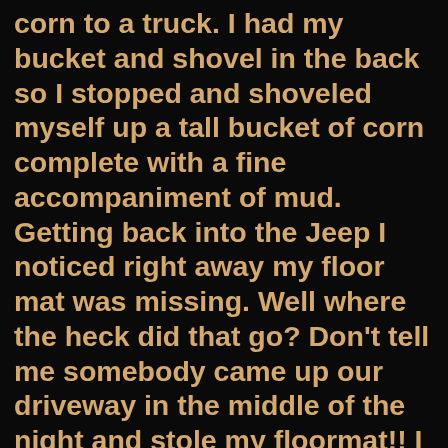corn to a truck.  I had my bucket and shovel in the back so I stopped and shoveled myself up a tall bucket of corn complete with a fine accompaniment of mud.  Getting back into the Jeep I noticed right away my floor mat was missing.  Well where the heck did that go?  Don't tell me somebody came up our driveway in the middle of the night and stole my floormat!!  I sat perplexed for a time backtracking my thoughts and 'Bingo'.......the carwash.  Made a hasty U-turn and it was back we went.  Of course, the